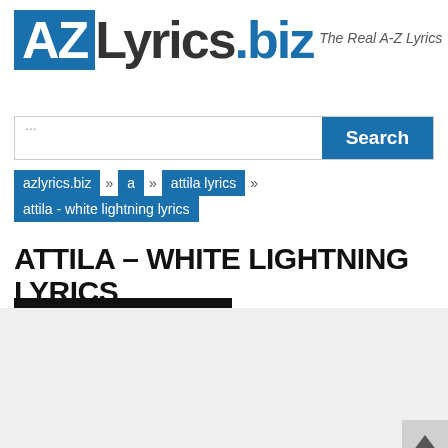[Figure (logo): AZLyrics.biz logo with blue box containing AZ, then Lyrics.biz text and tagline 'The Real A-Z Lyrics']
...
azlyrics.biz » a » attila lyrics » attila - white lightning lyrics
ATTILA – WHITE LIGHTNING LYRICS
Play Music Video